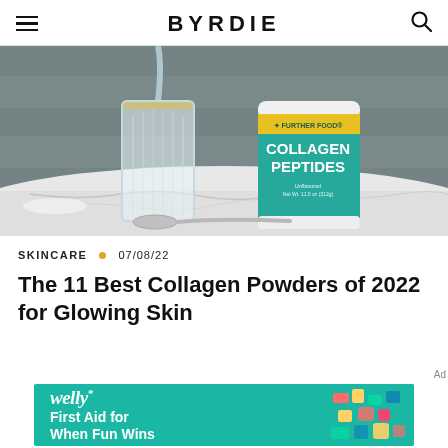BYRDIE
[Figure (photo): A glass of water with collagen powder being poured in, next to a teal container of Further Food Collagen Peptides, on a white marble surface with a spoon in the foreground.]
SKINCARE • 07/08/22
The 11 Best Collagen Powders of 2022 for Glowing Skin
[Figure (photo): Advertisement banner for Welly: 'First Aid for When Fun Wins' on a teal background with colorful illustrations.]